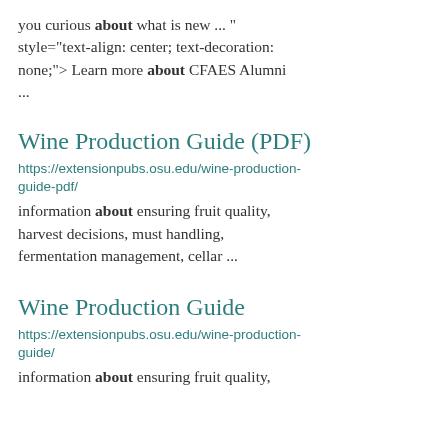you curious about what is new ... " style="text-align: center; text-decoration: none;"> Learn more about CFAES Alumni ...
Wine Production Guide (PDF)
https://extensionpubs.osu.edu/wine-production-guide-pdf/
information about ensuring fruit quality, harvest decisions, must handling, fermentation management, cellar ...
Wine Production Guide
https://extensionpubs.osu.edu/wine-production-guide/
information about ensuring fruit quality,